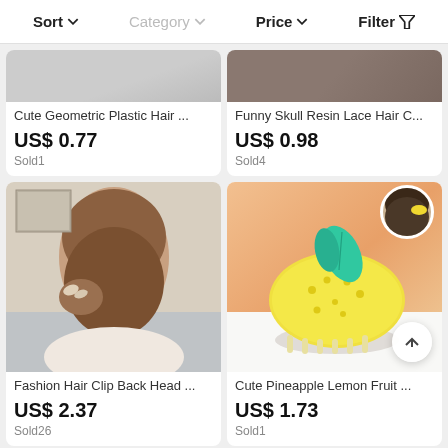Sort  Category  Price  Filter
Cute Geometric Plastic Hair ...
US$ 0.77
Sold1
Funny Skull Resin Lace Hair C...
US$ 0.98
Sold4
[Figure (photo): Woman with brown hair styled in a bun using a decorative butterfly hair clip, seen from behind/side]
Fashion Hair Clip Back Head ...
US$ 2.37
Sold26
[Figure (photo): Yellow lemon-shaped pineapple hair clip/claw with teal leaf accent and small circular details, on white background, with inset showing it worn in dark hair]
Cute Pineapple Lemon Fruit ...
US$ 1.73
Sold1